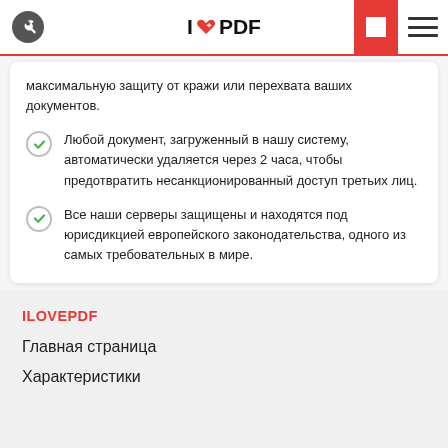I❤PDF
максимальную защиту от кражи или перехвата ваших документов.
Любой документ, загруженный в нашу систему, автоматически удаляется через 2 часа, чтобы предотвратить несанкционированный доступ третьих лиц.
Все наши серверы защищены и находятся под юрисдикцией европейского законодательства, одного из самых требовательных в мире.
ILOVEPDF
Главная страница
Характеристики